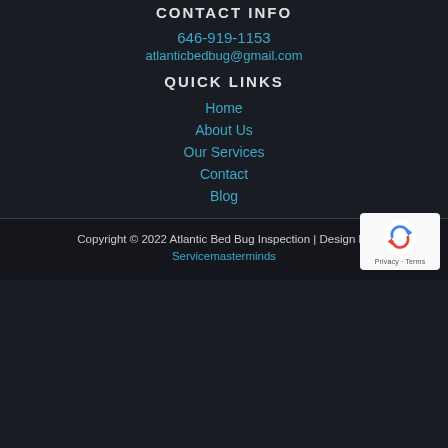CONTACT INFO
646-919-1153
atlanticbedbug@gmail.com
QUICK LINKS
Home
About Us
Our Services
Contact
Blog
Copyright © 2022 Atlantic Bed Bug Inspection | Design by Servicemasterminds
[Figure (logo): reCAPTCHA badge with Google logo, Privacy and Terms links]